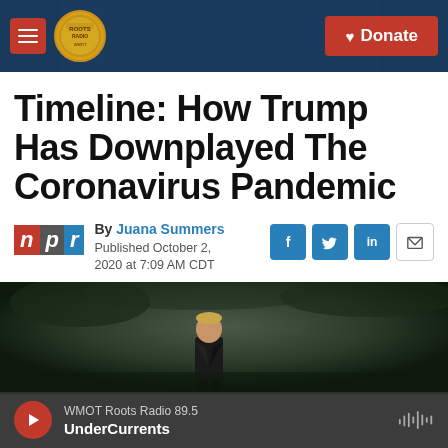WMOT Roots Radio — Navigation bar with hamburger menu, Roots Radio logo, and Donate button
Timeline: How Trump Has Downplayed The Coronavirus Pandemic
By Juana Summers
Published October 2, 2020 at 7:09 AM CDT
[Figure (photo): NPR logo alongside byline and social sharing buttons (Facebook, Twitter, LinkedIn, Email)]
[Figure (photo): Photograph of a person (Trump) walking outdoors against a dark background]
WMOT Roots Radio 89.5 — UnderCurrents (audio player bar)